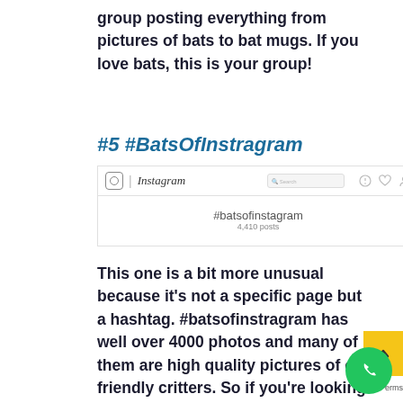group posting everything from pictures of bats to bat mugs. If you love bats, this is your group!
#5 #BatsOfInstragram
[Figure (screenshot): Instagram screenshot showing #batsofinstagram hashtag page with 4,410 posts]
This one is a bit more unusual because it's not a specific page but a hashtag. #batsofinstragram has well over 4000 photos and many of them are high quality pictures of our friendly critters. So if you're looking for the most updated photos in high res, check out